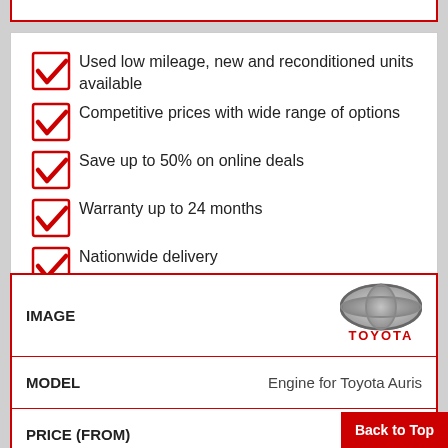Used low mileage, new and reconditioned units available
Competitive prices with wide range of options
Save up to 50% on online deals
Warranty up to 24 months
Nationwide delivery
| Field | Value |
| --- | --- |
| IMAGE | Toyota logo |
| MODEL | Engine for Toyota Auris |
| PRICE (FROM) |  |
|  |  |
|  |  |